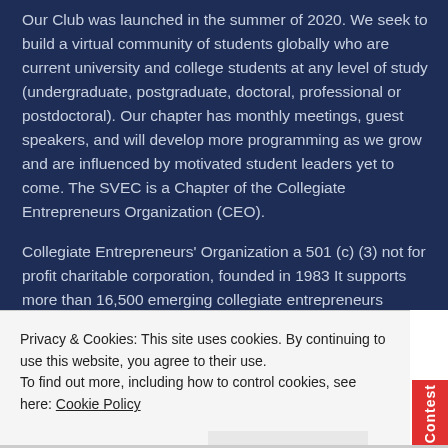Our Club was launched in the summer of 2020. We seek to build a virtual community of students globally who are current university and college students at any level of study (undergraduate, postgraduate, doctoral, professional or postdoctoral). Our chapter has monthly meetings, guest speakers, and will develop more programming as we grow and are influenced by motivated student leaders yet to come. The SVEC is a Chapter of the Collegiate Entrepreneurs Organization (CEO).
Collegiate Entrepreneurs' Organization a 501 (c) (3) not for profit charitable corporation, founded in 1983 It supports more than 16,500 emerging collegiate entrepreneurs annually. CEO believes that any student, regardless of
Privacy & Cookies: This site uses cookies. By continuing to use this website, you agree to their use.
To find out more, including how to control cookies, see here: Cookie Policy